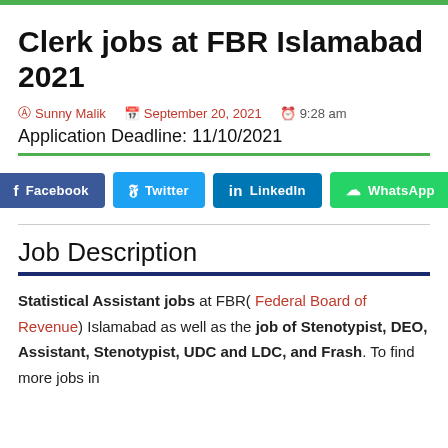Clerk jobs at FBR Islamabad 2021
Sunny Malik   September 20, 2021   9:28 am
Application Deadline: 11/10/2021
Job Description
Statistical Assistant jobs at FBR( Federal Board of Revenue) Islamabad as well as the job of Stenotypist, DEO, Assistant, Stenotypist, UDC and LDC, and Frash. To find more jobs in